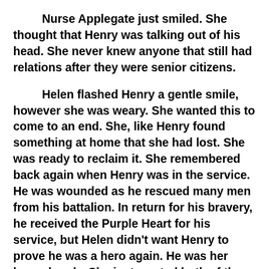Nurse Applegate just smiled.  She thought that Henry was talking out of his head.  She never knew anyone that still had relations after they were senior citizens.
Helen flashed Henry a gentle smile, however she was weary. She wanted this to come to an end.  She, like Henry found something at home that she had lost.  She was ready to reclaim it.  She remembered back again when Henry was in the service.  He was wounded as he rescued many men from his battalion.  In return for his bravery, he received the Purple Heart for his service, but Helen didn't want Henry to prove he was a hero again.  He was her hero already.  She just wanted both of them home where they could enjoy and really live the rest of their lives together.